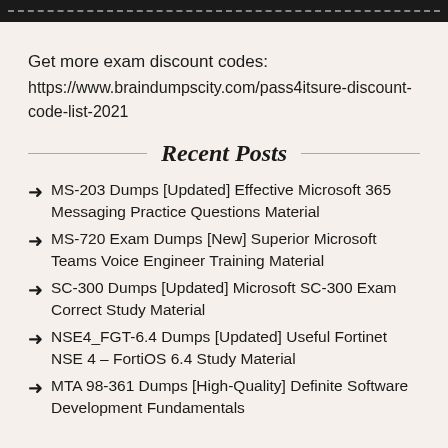Get more exam discount codes:
https://www.braindumpscity.com/pass4itsure-discount-code-list-2021
Recent Posts
MS-203 Dumps [Updated] Effective Microsoft 365 Messaging Practice Questions Material
MS-720 Exam Dumps [New] Superior Microsoft Teams Voice Engineer Training Material
SC-300 Dumps [Updated] Microsoft SC-300 Exam Correct Study Material
NSE4_FGT-6.4 Dumps [Updated] Useful Fortinet NSE 4 – FortiOS 6.4 Study Material
MTA 98-361 Dumps [High-Quality] Definite Software Development Fundamentals